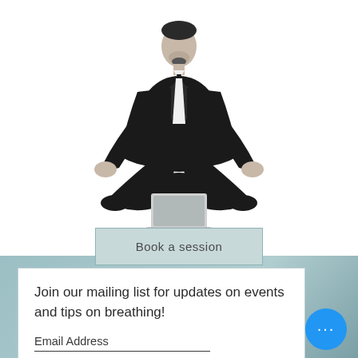[Figure (illustration): Black and white illustration of a businessman in a suit sitting in a lotus meditation pose with a laptop computer in front of him]
Book a session
Join our mailing list for updates on events and tips on breathing!
Email Address